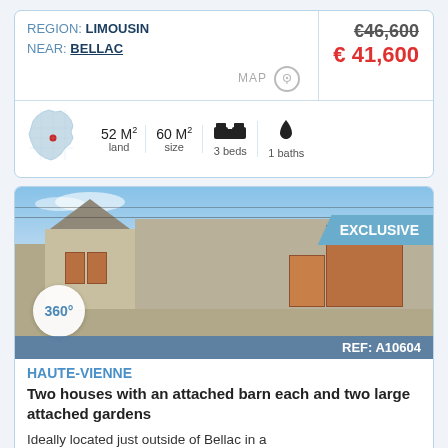REGION: LIMOUSIN
NEAR: BELLAC
€46,600
€ 41,600
MAP
52 M² land  60 M² size  3 beds  1 baths
[Figure (photo): Exterior photo of two stone French village houses with wooden shutters and barn doors, blue sky background. EXCLUSIVE badge top right, 360° badge bottom left, REF: A10604 bar at bottom.]
HAUTE-VIENNE
Two houses with an attached barn each and two large attached gardens
Ideally located just outside of Bellac in a